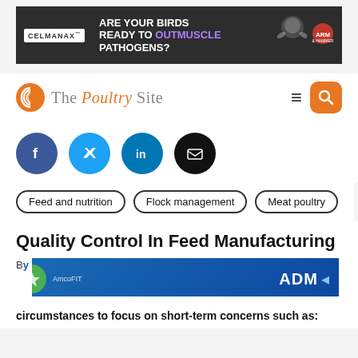[Figure (illustration): CELMANAX advertisement banner: dark background, brand logo on left, text 'ARE YOUR BIRDS READY TO OUTMUSCLE PATHOGENS?' with a cartoon flexing chicken on the right]
[Figure (logo): The Poultry Site logo with orange globe icon, serif/sans text, hamburger menu and orange search button]
[Figure (infographic): Four social media sharing icons: Facebook (blue circle with f), Twitter (light blue circle with bird), LinkedIn (teal circle with in), Email (black circle with envelope)]
Feed and nutrition
Flock management
Meat poultry
Quality Control In Feed Manufacturing
circumstances to focus on short-term concerns such as: